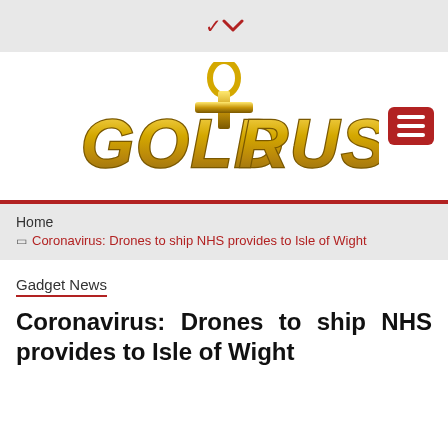[Figure (logo): Gold Rush website logo with ankh symbol above text in gold/yellow metallic style letters]
Home › Coronavirus: Drones to ship NHS provides to Isle of Wight
Gadget News
Coronavirus: Drones to ship NHS provides to Isle of Wight